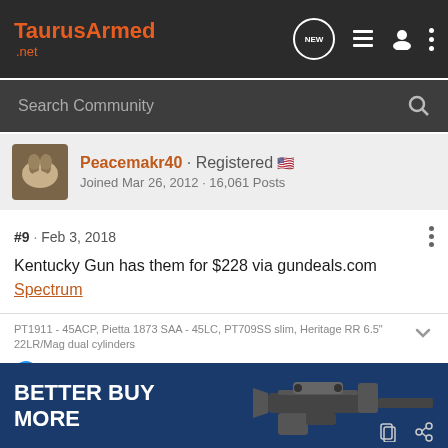TaurusArmed.net
Search Community
Peacemakr40 · Registered
Joined Mar 26, 2012 · 16,061 Posts
#9 · Feb 3, 2018
Kentucky Gun has them for $228 via gundeals.com
Spectrum
PT1911 - 45ACP, Pietta 1873 SAA - 45LC, PT709SS slim, Heritage RR 6.5" 22LR/Mag dual cylinders
Yissn
[Figure (screenshot): Advertisement banner: BETTER BUY MORE with gun image]